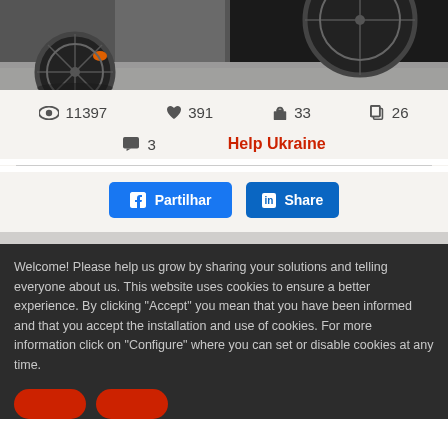[Figure (photo): Close-up photo of bicycle wheels on asphalt, with a dark background on the right side. Orange reflector visible near the wheel.]
👁 11397   ♥ 391   🛍 33   🔗 26
💬 3   Help Ukraine
Partilhar   Share
Welcome! Please help us grow by sharing your solutions and telling everyone about us. This website uses cookies to ensure a better experience. By clicking "Accept" you mean that you have been informed and that you accept the installation and use of cookies. For more information click on "Configure" where you can set or disable cookies at any time.